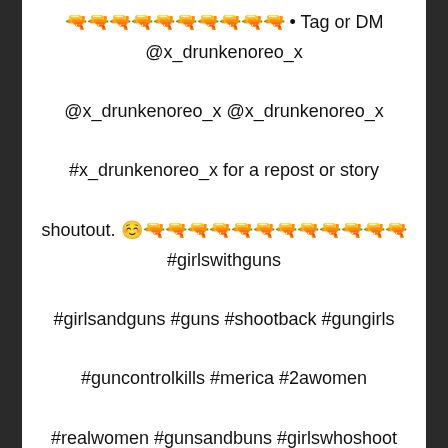🔫🔫🔫🔫🔫🔫🔫🔫🔫🔫 • Tag or DM @x_drunkenoreo_x @x_drunkenoreo_x @x_drunkenoreo_x #x_drunkenoreo_x for a repost or story shoutout. ☺️🔫🔫🔫🔫🔫🔫🔫🔫🔫🔫🔫🔫 #girlswithguns #girlsandguns #guns #shootback #gungirls #guncontrolkills #merica #2awomen #realwomen #gunsandbuns #girlswhoshoot #wifematerial #leveraction #cowgirl #countrygirls #countrygirl
Repost @myinsanity101 • • • • • Was hot